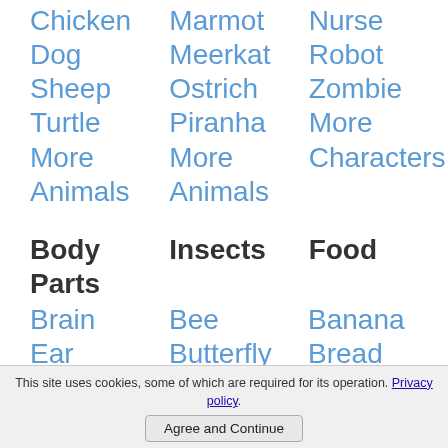Chicken
Marmot
Nurse
Dog
Meerkat
Robot
Sheep
Ostrich
Zombie
Turtle
Piranha
More
More
More
Characters
Animals
Animals
Body Parts
Insects
Food
Brain
Bee
Banana
Ear
Butterfly
Bread
Eyeball
Caterpillar
Cookie
Fist
Snail
Strawberry
Nose
Spider
Watermelon
This site uses cookies, some of which are required for its operation. Privacy policy.
Agree and Continue